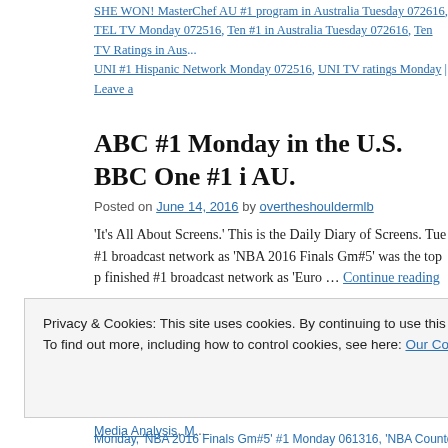SHE WON! MasterChef AU #1 program in Australia Tuesday 072616, TEL TV Monday 072516, Ten #1 in Australia Tuesday 072616, Ten TV Ratings in Aus... UNI #1 Hispanic Network Monday 072516, UNI TV ratings Monday | Leave a
ABC #1 Monday in the U.S. BBC One #1 i AU.
Posted on June 14, 2016 by overtheshouldermlb
'It’s All About Screens.' This is the Daily Diary of Screens. Tue #1 broadcast network as 'NBA 2016 Finals Gm#5' was the top p finished #1 broadcast network as 'Euro … Continue reading →
Posted in Audience Analysis, Audience Behavior, Audience Management, Bro TV Ratings in the UK, Broadcast TV Ratings in US, Cable TV Ratings, Cinem Direct, Hispanic TV Ratings, Late Night TV Ratings, Media, Media Analysis, M
Privacy & Cookies: This site uses cookies. By continuing to use this website, you agree to their use. To find out more, including how to control cookies, see here: Our Cookie Policy
Monday, 'NBA 2016 Finals Gm#5' #1 Monday 061316, 'NBA Countdown' TV R